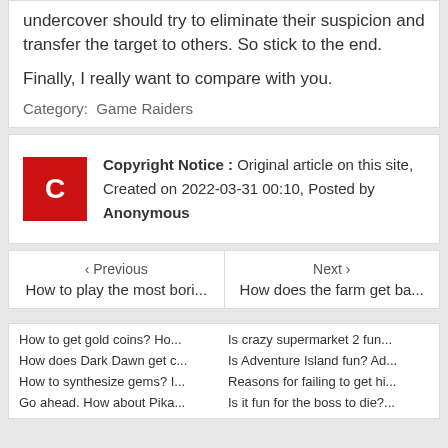undercover should try to eliminate their suspicion and transfer the target to others. So stick to the end.

Finally, I really want to compare with you.
Category: Game Raiders
Copyright Notice : Original article on this site, Created on 2022-03-31 00:10, Posted by Anonymous
< Previous
How to play the most bori...
Next >
How does the farm get ba...
How to get gold coins? Ho...
Is crazy supermarket 2 fun...
How does Dark Dawn get c...
Is Adventure Island fun? Ad...
How to synthesize gems? I...
Reasons for failing to get hi...
Go ahead. How about Pika...
Is it fun for the boss to die?...